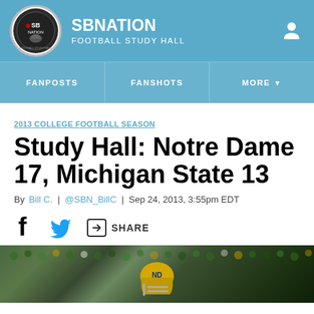SB NATION - FOOTBALL STUDY HALL
FANPOSTS | FANSHOTS | MORE
2013 COLLEGE FOOTBALL SEASON
Study Hall: Notre Dame 17, Michigan State 13
By Bill C. | @SBN_BillC | Sep 24, 2013, 3:55pm EDT
SHARE
[Figure (photo): Football game crowd photo with player in Notre Dame helmet in foreground]